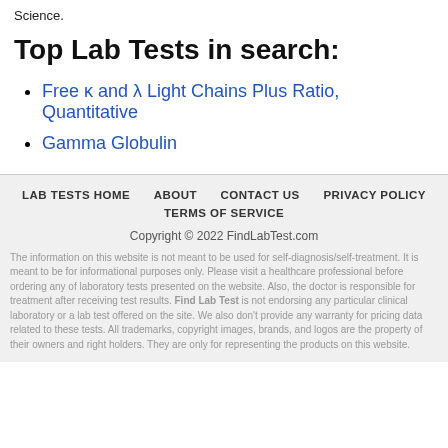Science.
Top Lab Tests in search:
Free κ and λ Light Chains Plus Ratio, Quantitative
Gamma Globulin
LAB TESTS HOME   ABOUT   CONTACT US   PRIVACY POLICY   TERMS OF SERVICE   Copyright © 2022 FindLabTest.com   The information on this website is not meant to be used for self-diagnosis/self-treatment. It is meant to be for informational purposes only. Please visit a healthcare professional before ordering any of laboratory tests presented on the website. Also, the doctor is responsible for treatment after receiving test results. Find Lab Test is not endorsing any particular clinical laboratory or a lab test offered on the site. We also don't provide any warranty for pricing data related to these tests. All trademarks, copyright images, brands, and logos are the property of their owners and right holders. They are only for representing the products on this website.